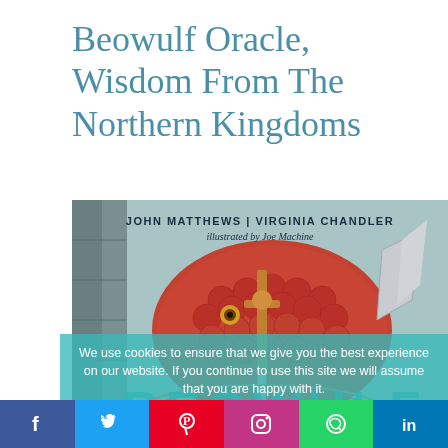Beowulf Oracle, Wisdom From The Northern Kingdoms
[Figure (photo): Book cover of 'Beowulf Oracle, Wisdom From The Northern Kingdoms' by John Matthews and Virginia Chandler, illustrated by Joe Machine. Shows a dragon/serpent creature with red/orange scales with a sword hilt visible. Bottom shows large teal letters spelling BEOWULF. A cookie consent overlay in teal partially covers the lower portion of the image.]
We use cookies to ensure that we give you the best experience on our website. If you continue to use this site we will assume that you are happy with it.